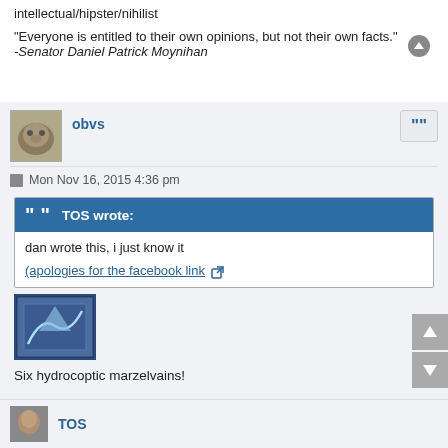intellectual/hipster/nihilist
"Everyone is entitled to their own opinions, but not their own facts."
-Senator Daniel Patrick Moynihan
obvs
Mon Nov 16, 2015 4:36 pm
TOS wrote:
dan wrote this, i just know it
(apologies for the facebook link
[Figure (illustration): Small stylized illustration with blue background and abstract figure]
Six hydrocoptic marzelvains!
TOS